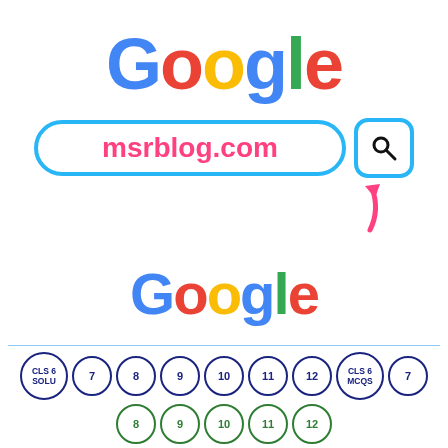[Figure (logo): Google logo in multicolor letters: G(blue), o(red), o(yellow), g(blue), l(green), e(red)]
[Figure (infographic): Google search bar showing 'msrblog.com' in pink bold text, surrounded by cyan/light-blue border, with a search button icon and a pink arrow pointing to it]
[Figure (logo): Smaller Google logo in multicolor letters]
[Figure (infographic): Navigation circles row 1: CLS 6 SOLU, 7, 8, 9, 10, 11, 12, CLS 6 MCQS, 7 in dark blue; row 2: 8, 9, 10, 11, 12 in green]